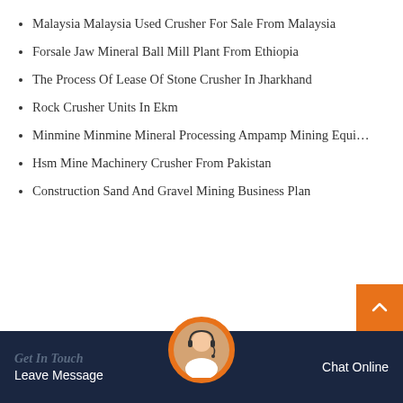Malaysia Malaysia Used Crusher For Sale From Malaysia
Forsale Jaw Mineral Ball Mill Plant From Ethiopia
The Process Of Lease Of Stone Crusher In Jharkhand
Rock Crusher Units In Ekm
Minmine Minmine Mineral Processing Ampamp Mining Equi…
Hsm Mine Machinery Crusher From Pakistan
Construction Sand And Gravel Mining Business Plan
Get In Touch  Leave Message  Chat Online